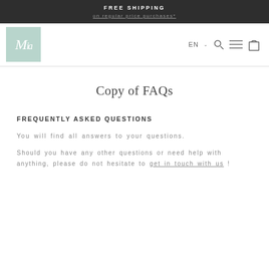FREE SHIPPING
on regular price purchases*
[Figure (logo): Script letter M logo on mint/teal green square background]
Copy of FAQs
FREQUENTLY ASKED QUESTIONS
You will find all answers to your questions.
Should you have any other questions or need help with anything, please do not hesitate to get in touch with us !